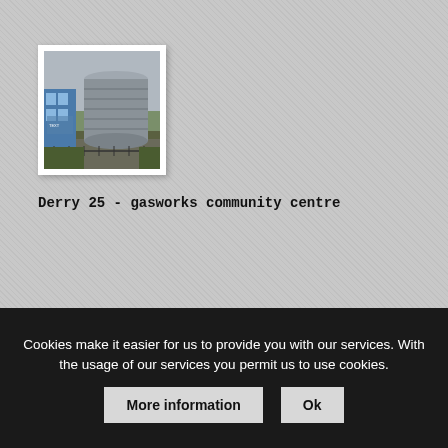[Figure (photo): Photograph of Derry gasworks community centre showing large industrial cylindrical gas storage tank and blue building in the background]
Derry 25 - gasworks community centre
Cookies make it easier for us to provide you with our services. With the usage of our services you permit us to use cookies.